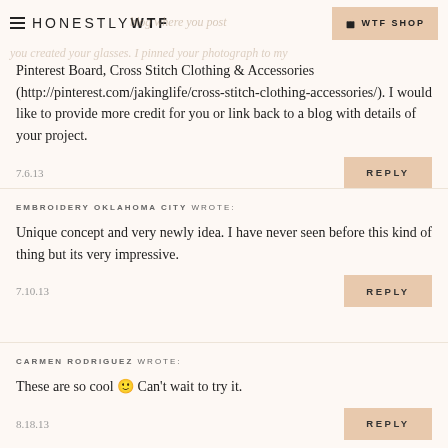HONESTLY WTF | WTF SHOP
blog where you post you created your glasses. I pinned your photograph to my Pinterest Board, Cross Stitch Clothing & Accessories (http://pinterest.com/jakinglife/cross-stitch-clothing-accessories/). I would like to provide more credit for you or link back to a blog with details of your project.
7.6.13
REPLY
EMBROIDERY OKLAHOMA CITY WROTE:
Unique concept and very newly idea. I have never seen before this kind of thing but its very impressive.
7.10.13
REPLY
CARMEN RODRIGUEZ WROTE:
These are so cool 🙂 Can't wait to try it.
8.18.13
REPLY